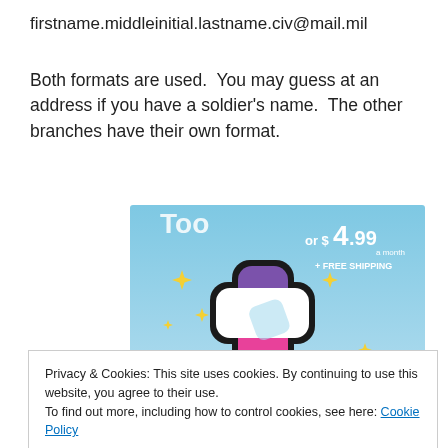firstname.middleinitial.lastname.civ@mail.mil
Both formats are used.  You may guess at an address if you have a soldier's name.  The other branches have their own format.
[Figure (screenshot): Tumblr ad banner showing the Tumblr 't' logo in pink/purple/white on a blue sky background with yellow sparkle stars, and text reading 'or $4.99 a month + FREE SHIPPING']
Privacy & Cookies: This site uses cookies. By continuing to use this website, you agree to their use.
To find out more, including how to control cookies, see here: Cookie Policy
[Close and accept button]